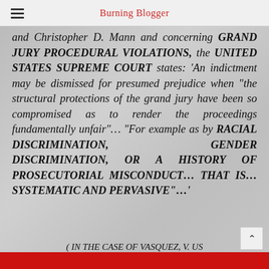Burning Blogger
and Christopher D. Mann and concerning GRAND JURY PROCEDURAL VIOLATIONS, the UNITED STATES SUPREME COURT states: 'An indictment may be dismissed for presumed prejudice when "the structural protections of the grand jury have been so compromised as to render the proceedings fundamentally unfair"... "For example as by RACIAL DISCRIMINATION, GENDER DISCRIMINATION, OR A HISTORY OF PROSECUTORIAL MISCONDUCT... THAT IS...SYSTEMATIC AND PERVASIVE"...'
( IN THE CASE OF VASQUEZ, V. US